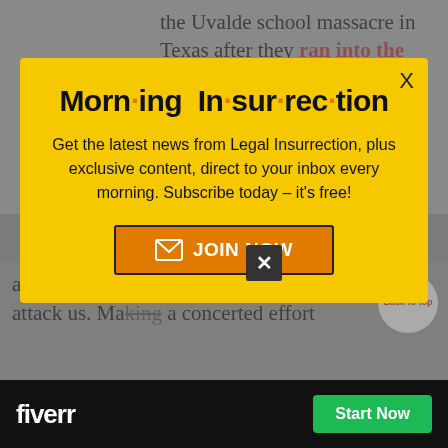the Uvalde school massacre in Texas after they ran into the gunfire and fatally shot the Robb Elementary School gunman while local law enforcement refused to act. Despite this,
[Figure (infographic): Yellow modal newsletter signup overlay for 'Morning Insurrection' with title, description text, and JOIN NOW button with envelope icon]
are beyond pissed. We expect Biden to continue to attack us. Making a concerted effort
[Figure (logo): Fiverr advertisement banner at bottom with black background, white Fiverr logo and green Start Now button]